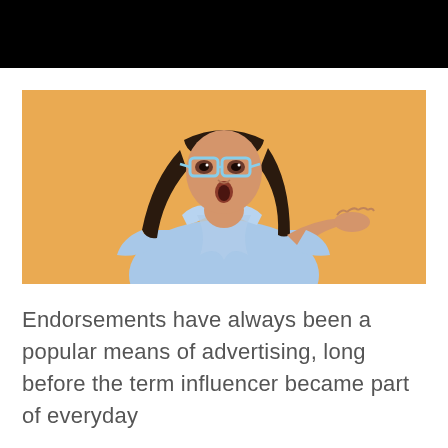[Figure (photo): A young woman with long dark hair wearing light blue glasses and a light blue bow-tie blouse, looking sideways with a surprised expression and one hand raised palm-up, against an orange background.]
Endorsements have always been a popular means of advertising, long before the term influencer became part of everyday